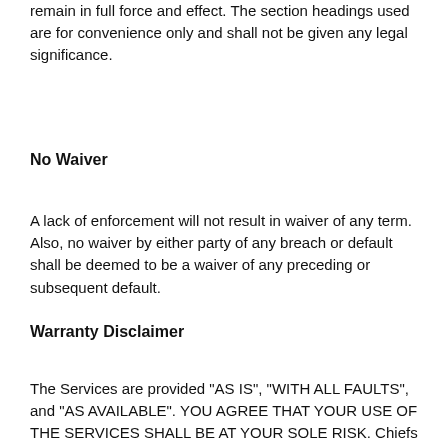remain in full force and effect. The section headings used are for convenience only and shall not be given any legal significance.
No Waiver
A lack of enforcement will not result in waiver of any term. Also, no waiver by either party of any breach or default shall be deemed to be a waiver of any preceding or subsequent default.
Warranty Disclaimer
The Services are provided "AS IS", "WITH ALL FAULTS", and "AS AVAILABLE". YOU AGREE THAT YOUR USE OF THE SERVICES SHALL BE AT YOUR SOLE RISK. Chiefs on Demand does not GUARANTEE that users will be able to access the